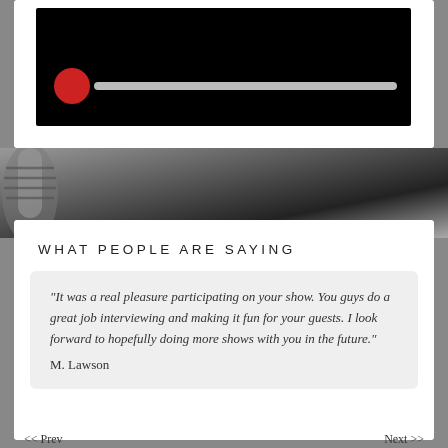[Figure (screenshot): Video player interface with black background, red circular play head on a grey progress/slider bar]
[Figure (photo): Black and white photo of a microphone in the background]
WHAT PEOPLE ARE SAYING
“It was a real pleasure participating on your show. You guys do a great job interviewing and making it fun for your guests.  I look forward to hopefully doing more shows with you in the future.”
M. Lawson
<< Prev    Next >>